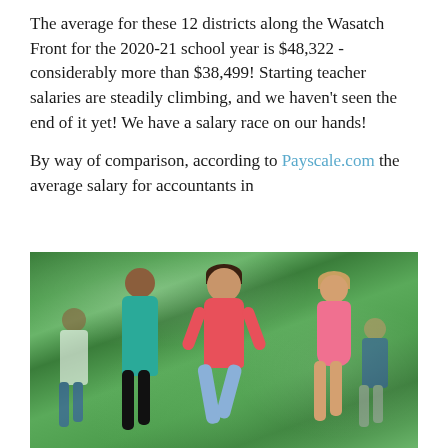The average for these 12 districts along the Wasatch Front for the 2020-21 school year is $48,322 - considerably more than $38,499! Starting teacher salaries are steadily climbing, and we haven't seen the end of it yet! We have a salary race on our hands!
By way of comparison, according to Payscale.com the average salary for accountants in
[Figure (photo): Children running outdoors in a park or field, with green foliage in the background. A girl in a pink top is in the foreground, smiling and running, with other children behind her.]